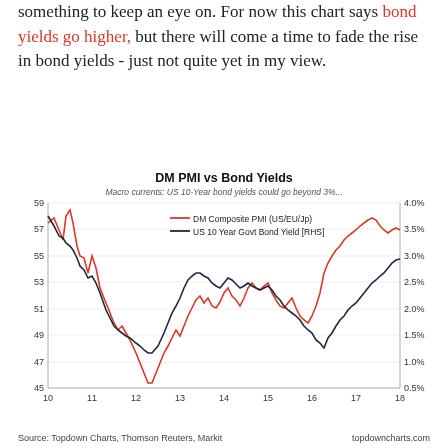something to keep an eye on. For now this chart says bond yields go higher, but there will come a time to fade the rise in bond yields - just not quite yet in my view.
[Figure (line-chart): DM PMI vs Bond Yields]
Source: Topdown Charts, Thomson Reuters, Markit   topdowncharts.com